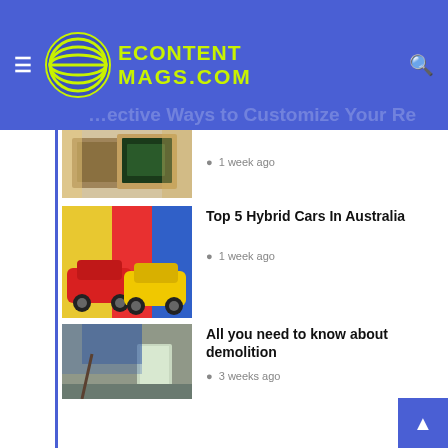ECONTENT MAGS.COM
[Figure (photo): Partially visible image at top, appears to be craft/paper items]
1 week ago
[Figure (photo): Two colorful Fiat 500 cars parked in front of colorful wall]
Top 5 Hybrid Cars In Australia
1 week ago
[Figure (photo): Person riding an electric bicycle on a street]
Best Electric Bicycles Regarding Budget
2 weeks ago
[Figure (photo): Abandoned room interior with blue smoke/haze and an open door]
All you need to know about demolition
3 weeks ago
[Figure (photo): Close-up of woman's face with acne/skin condition, eyes closed]
Beautiful skin without acne
4 weeks ago